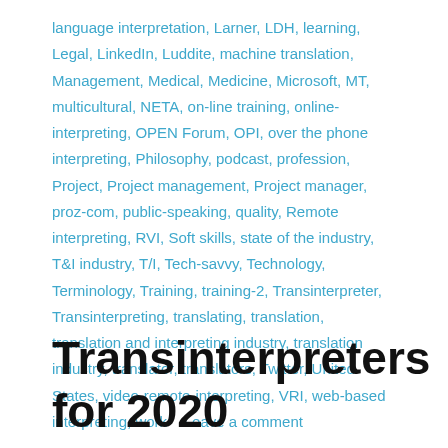language interpretation, Larner, LDH, learning, Legal, LinkedIn, Luddite, machine translation, Management, Medical, Medicine, Microsoft, MT, multicultural, NETA, on-line training, online-interpreting, OPEN Forum, OPI, over the phone interpreting, Philosophy, podcast, profession, Project, Project management, Project manager, proz-com, public-speaking, quality, Remote interpreting, RVI, Soft skills, state of the industry, T&I industry, T/I, Tech-savvy, Technology, Terminology, Training, training-2, Transinterpreter, Transinterpreting, translating, translation, translation and interpreting industry, translation industry, translator, translators, Twitter, United States, video-remote-interpreting, VRI, web-based interpreting, work   Leave a comment
Transinterpreters for 2020